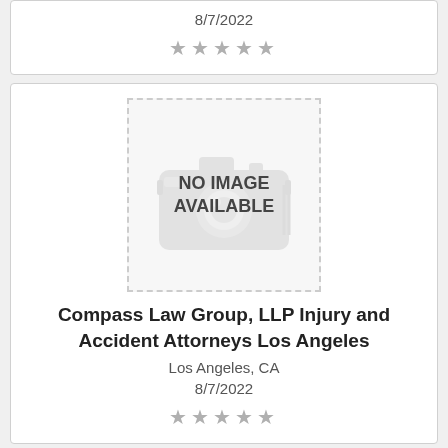8/7/2022
[Figure (other): Five grey star rating icons]
[Figure (other): No image available placeholder with dashed border and camera icon]
Compass Law Group, LLP Injury and Accident Attorneys Los Angeles
Los Angeles, CA
8/7/2022
[Figure (other): Five grey star rating icons]
[Figure (other): Partial logo at bottom of page]